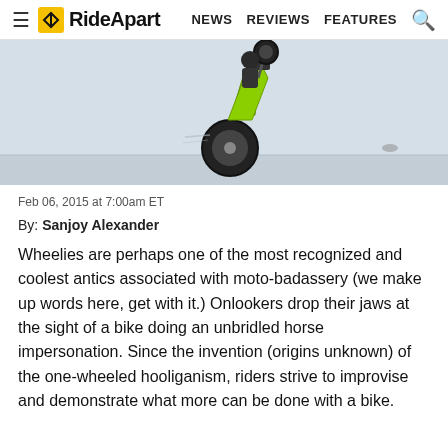RideApart — NEWS  REVIEWS  FEATURES
[Figure (photo): Motorcycle performing a wheelie on a flat surface, shot from front/center, bright overcast background]
Feb 06, 2015 at 7:00am ET
By: Sanjoy Alexander
Wheelies are perhaps one of the most recognized and coolest antics associated with moto-badassery (we make up words here, get with it.) Onlookers drop their jaws at the sight of a bike doing an unbridled horse impersonation. Since the invention (origins unknown) of the one-wheeled hooliganism, riders strive to improvise and demonstrate what more can be done with a bike.